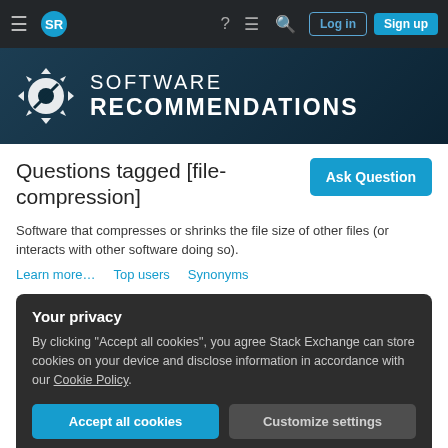Software Recommendations - Navigation bar
[Figure (logo): Software Recommendations Stack Exchange site logo with gear/star icon and site name]
Questions tagged [file-compression]
Software that compresses or shrinks the file size of other files (or interacts with other software doing so).
Learn more… Top users Synonyms
Your privacy
By clicking "Accept all cookies", you agree Stack Exchange can store cookies on your device and disclose information in accordance with our Cookie Policy.
Accept all cookies Customize settings
Looking for a linux backup tool multithreaded with encryption and good compression algorithm